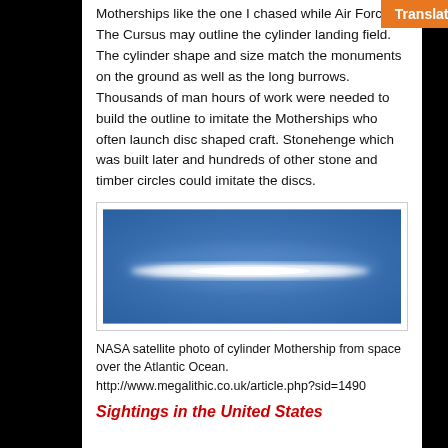Motherships like the one I chased while Air Force. The Cursus may outline the cylinder landing field. The cylinder shape and size match the monuments on the ground as well as the long burrows. Thousands of man hours of work were needed to build the outline to imitate the Motherships who often launch disc shaped craft. Stonehenge which was built later and hundreds of other stone and timber circles could imitate the discs.
[Figure (photo): NASA satellite photo showing a blurry white elongated cylinder-shaped object against a blue sky/space background]
NASA satellite photo of cylinder Mothership from space over the Atlantic Ocean.
http://www.megalithic.co.uk/article.php?sid=1490
Sightings in the United States